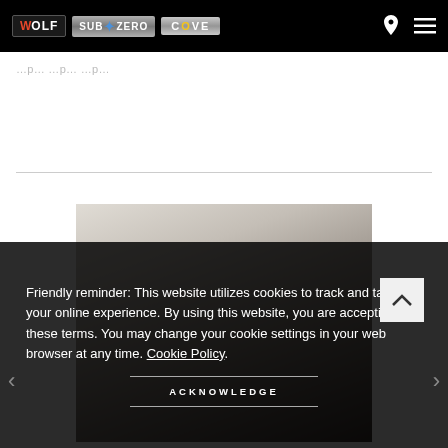[Figure (logo): Wolf, Sub-Zero, and Cove brand logos in navigation bar on black background]
[Figure (photo): Kitchen interior photo partially visible behind cookie consent overlay]
Friendly reminder: This website utilizes cookies to track and tailor your online experience. By using this website, you are accepting these terms. You may change your cookie settings in your web browser at any time. Cookie Policy.
ACKNOWLEDGE